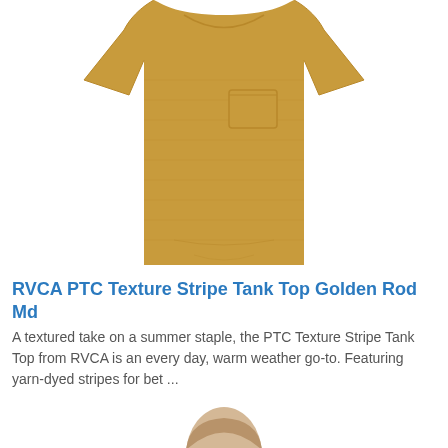[Figure (photo): Yellow/golden mustard colored sleeveless tank top with a small chest pocket, displayed flat on white background]
RVCA PTC Texture Stripe Tank Top Golden Rod Md
A textured take on a summer staple, the PTC Texture Stripe Tank Top from RVCA is an every day, warm weather go-to. Featuring yarn-dyed stripes for bet ...
[Figure (photo): White pullover/zip-up with red and orange geometric/diamond pattern Fair Isle style design, shown from shoulders up on a person]